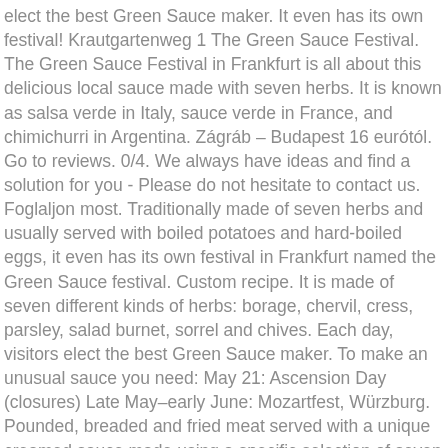elect the best Green Sauce maker. It even has its own festival! Krautgartenweg 1 The Green Sauce Festival. The Green Sauce Festival in Frankfurt is all about this delicious local sauce made with seven herbs. It is known as salsa verde in Italy, sauce verde in France, and chimichurri in Argentina. Zágráb – Budapest 16 eurótól. Go to reviews. 0/4. We always have ideas and find a solution for you - Please do not hesitate to contact us. Foglaljon most. Traditionally made of seven herbs and usually served with boiled potatoes and hard-boiled eggs, it even has its own festival in Frankfurt named the Green Sauce festival. Custom recipe. It is made of seven different kinds of herbs: borage, chervil, cress, parsley, salad burnet, sorrel and chives. Each day, visitors elect the best Green Sauce maker. To make an unusual sauce you need: May 21: Ascension Day (closures) Late May–early June: Mozartfest, Würzburg. Pounded, breaded and fried meat served with a unique creamed sauce made using a specific selection of seven herbs, each one local to the Frankfurt area, all in specific amounts. But its taste is more sharp and pronounced. It even has its own festival! We invite you to the most sought after competing for the Green sauce. The monument consists of seven greenhouses, each one representing a different herb used in the sauce. I was wondering if anyone could give any English details. The Original